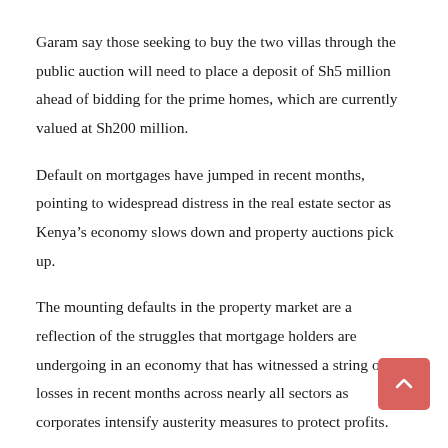Garam say those seeking to buy the two villas through the public auction will need to place a deposit of Sh5 million ahead of bidding for the prime homes, which are currently valued at Sh200 million.
Default on mortgages have jumped in recent months, pointing to widespread distress in the real estate sector as Kenya’s economy slows down and property auctions pick up.
The mounting defaults in the property market are a reflection of the struggles that mortgage holders are undergoing in an economy that has witnessed a string of job losses in recent months across nearly all sectors as corporates intensify austerity measures to protect profits.